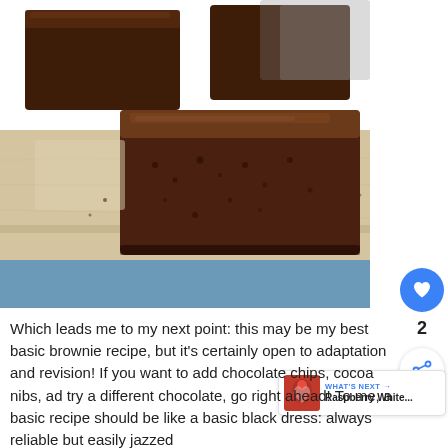[Figure (photo): Chocolate brownies on a wooden cutting board with a blue cloth background. A square brownie piece is prominently featured in the foreground with a glossy fudgy top, showing the crumbly interior texture. More brownies are visible in the background.]
Which leads me to my next point: this may be my best basic brownie recipe, but it's certainly open to adaptation and revision! If you want to add chocolate chips, cocoa nibs, ad try a different chocolate, go right ahead! To me, a basic recipe should be like a basic black dress: always reliable but easily jazzed